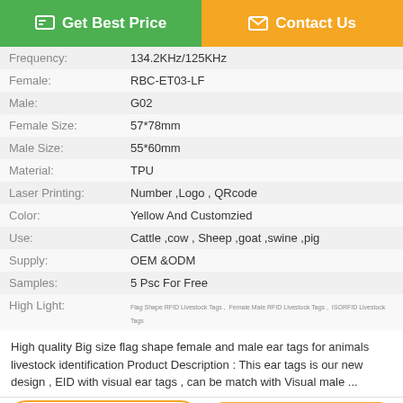| Field | Value |
| --- | --- |
| Frequency: | 134.2KHz/125KHz |
| Female: | RBC-ET03-LF |
| Male: | G02 |
| Female Size: | 57*78mm |
| Male Size: | 55*60mm |
| Material: | TPU |
| Laser Printing: | Number ,Logo , QRcode |
| Color: | Yellow And Customzied |
| Use: | Cattle ,cow , Sheep ,goat ,swine ,pig |
| Supply: | OEM &ODM |
| Samples: | 5 Psc For Free |
| High Light: | Flag Shape RFID Livestock Tags ,  Female Male RFID Livestock Tags ,  ISORFID Livestock Tags |
High quality Big size flag shape female and male ear tags for animals livestock identification Product Description : This ear tags is our new design , EID with visual ear tags , can be match with Visual male ...